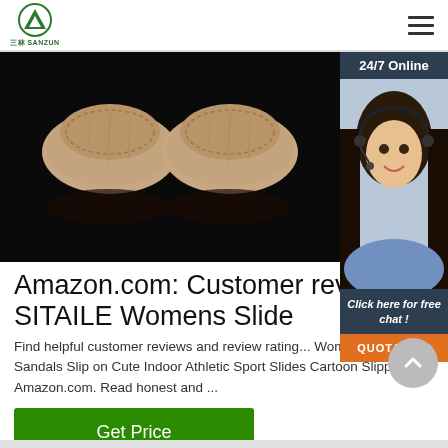[Figure (logo): SANZUN brand logo - green triangle/mountain icon with Chinese characters and SANZUN text below]
[Figure (photo): Top-down view of two beige/tan slide slippers on a black background with reflections]
[Figure (photo): 24/7 Online customer service panel with smiling female agent wearing headset, blue shirt, dark background, with 'Click here for free chat!' text and orange QUOTATION button]
Amazon.com: Customer rev... SITAILE Womens Slide
Find helpful customer reviews and review rating... Womens Slide Sandals Slip on Cute Indoor Athletic Sport Slides Cartoon Slippers at Amazon.com. Read honest and ...
[Figure (other): Green Get Price button]
[Figure (other): Gray scroll-to-top circular button with upward chevron]